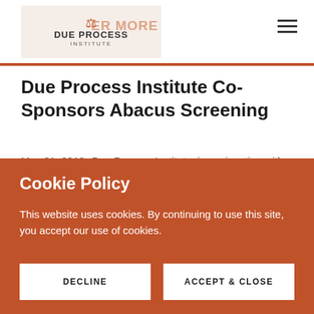[Figure (logo): Due Process Institute logo with scales of justice icon and orange accent bar]
Due Process Institute Co-Sponsors Abacus Screening
May 31, 2018--Due Process Institute, in conjunction with NACDL, hosted a screening of Abacus: Small Enough to Jail at the E Street Cinema in Washington
Cookie Policy
This website uses cookies. By continuing to use this site, you accept our use of cookies.
DECLINE
ACCEPT & CLOSE